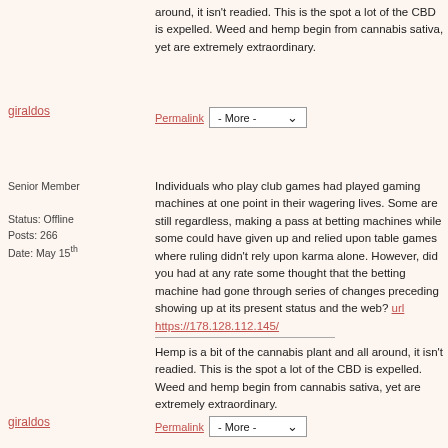around, it isn't readied. This is the spot a lot of the CBD is expelled. Weed and hemp begin from cannabis sativa, yet are extremely extraordinary.
giraldos
Permalink  - More -
Senior Member
Status: Offline
Posts: 266
Date: May 15th
Individuals who play club games had played gaming machines at one point in their wagering lives. Some are still regardless, making a pass at betting machines while some could have given up and relied upon table games where ruling didn't rely upon karma alone. However, did you had at any rate some thought that the betting machine had gone through series of changes preceding showing up at its present status and the web? url https://178.128.112.145/
Hemp is a bit of the cannabis plant and all around, it isn't readied. This is the spot a lot of the CBD is expelled. Weed and hemp begin from cannabis sativa, yet are extremely extraordinary.
giraldos
Permalink  - More -